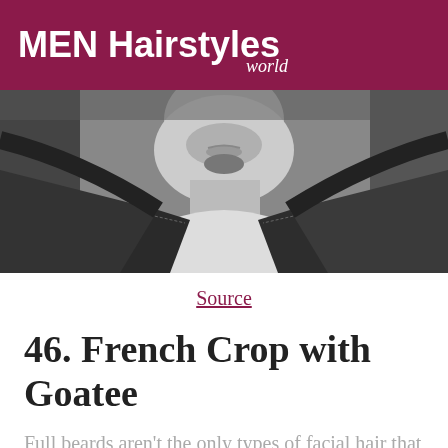MEN Hairstyles world
[Figure (photo): Black and white close-up photo of a man wearing a leather jacket and white t-shirt, showing his neck and lower face with a goatee]
Source
46. French Crop with Goatee
Full beards aren't the only types of facial hair that complement French